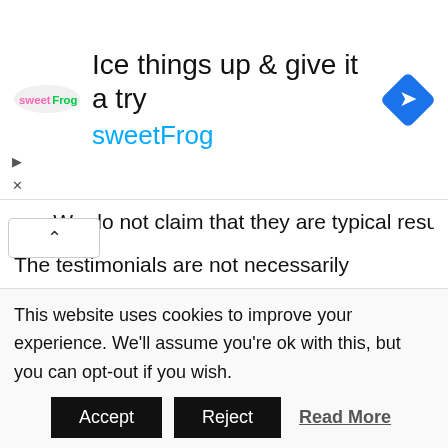[Figure (advertisement): sweetFrog advertisement banner: logo on left, headline 'Ice things up & give it a try', brand name 'sweetFrog' in blue, navigation/map icon on right]
ary. We do not claim that they are typical results.
The testimonials are not necessarily representative of all of those who will use our products and/or services.
The testimonials displayed in any form on this site (text, audio, video or other) are reproduced verbatim, except for correction of grammatical or typing errors.
This website uses cookies to improve your experience. We'll assume you're ok with this, but you can opt-out if you wish.